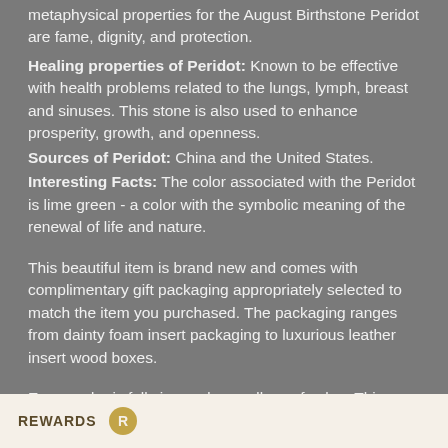metaphysical properties for the August Birthstone Peridot are fame, dignity, and protection.
Healing properties of Peridot: Known to be effective with health problems related to the lungs, lymph, breast and sinuses. This stone is also used to enhance prosperity, growth, and openness.
Sources of Peridot: China and the United States.
Interesting Facts: The color associated with the Peridot is lime green - a color with the symbolic meaning of the renewal of life and nature.
This beautiful item is brand new and comes with complimentary gift packaging appropriately selected to match the item you purchased. The packaging ranges from dainty foam insert packaging to luxurious leather insert wood boxes.
Every order is fully insured regardless of value. This insurance protects you against damage or the loss of your item while in transit. The Shipping and Handling fees include the insurance so there is no need to pay separately for insurance.
The 0.10 Ct Round Green Peridot 14K Gold Filled Heart E[...] say the least, but that's why y[...] first place.